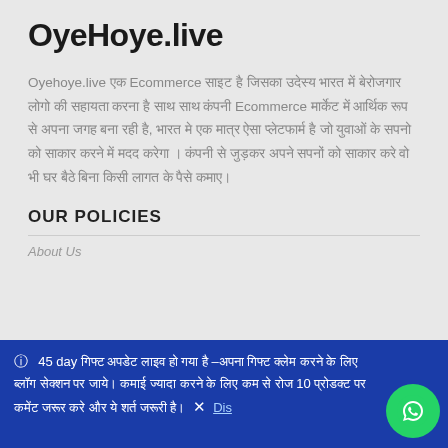OyeHoye.live
Oyehoye.live एक Ecommerce साइट है जिसका उदेस्य भारत में बेरोजगार लोगो की सहायता करना है साथ साथ कंपनी Ecommerce मार्केट में आर्थिक रूप से अपना जगह बना रही है, भारत मे एक मात्र ऐसा प्लेटफार्म है जो युवाओं के सपनो को साकार करने में मदद करेगा । कंपनी से जुड़कर अपने सपनों को साकार करे वो भी घर बैठे बिना किसी लागत के पैसे कमाए।
OUR POLICIES
About Us
ⓘ  45 day गिफ्ट अपडेट लाइव हो गया है –अपना गिफ्ट क्लेम करने के लिए ब्लॉग सेक्शन पर जाये। कमाई ज्यादा करने के लिए कम से रोज 10 प्रोडक्ट पर कमेंट जरूर करे और ये शर्त जरूरी है।  ×  Dis...